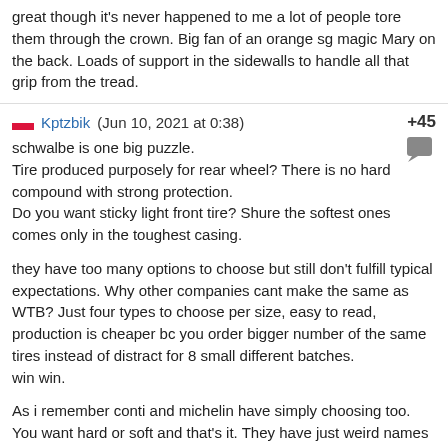great though it's never happened to me a lot of people tore them through the crown. Big fan of an orange sg magic Mary on the back. Loads of support in the sidewalls to handle all that grip from the tread.
Kptzbik (Jun 10, 2021 at 0:38) +45
schwalbe is one big puzzle.
Tire produced purposely for rear wheel? There is no hard compound with strong protection.
Do you want sticky light front tire? Shure the softest ones comes only in the toughest casing.

they have too many options to choose but still don't fulfill typical expectations. Why other companies cant make the same as WTB? Just four types to choose per size, easy to read, production is cheaper bc you order bigger number of the same tires instead of distract for 8 small different batches.
win win.

As i remember conti and michelin have simply choosing too. You want hard or soft and that's it. They have just weird names for their technologies.
Ktron (Jun 10, 2021 at 5:46) +11